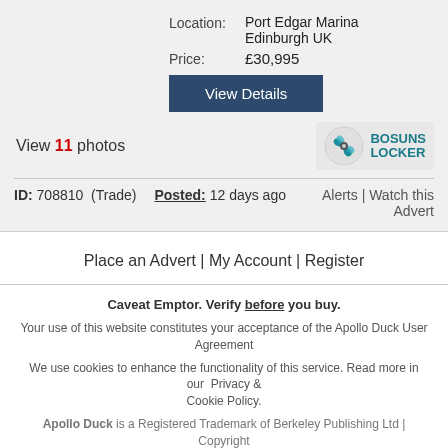Location: Port Edgar Marina Edinburgh UK
Price: £30,995
View Details
View 11 photos
[Figure (logo): Bosuns Locker logo with teal propeller icon and bold text BOSUNS LOCKER]
ID: 708810 (Trade)  Posted: 12 days ago  Alerts | Watch this Advert
Place an Advert | My Account | Register
Caveat Emptor. Verify before you buy.
Your use of this website constitutes your acceptance of the Apollo Duck User Agreement
We use cookies to enhance the functionality of this service. Read more in our  Privacy & Cookie Policy.
Apollo Duck is a Registered Trademark of Berkeley Publishing Ltd | Copyright Notice | Advertising Terms & Conditions